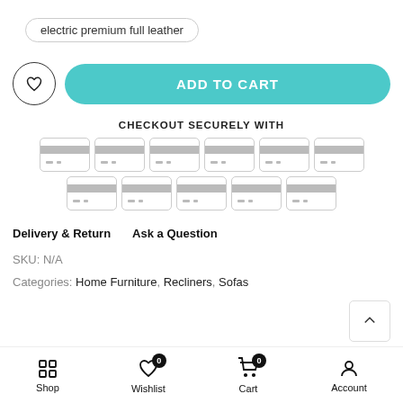electric premium full leather
ADD TO CART
CHECKOUT SECURELY WITH
[Figure (other): Grid of payment method card icons (11 total) shown as generic credit/debit card placeholders with grey stripe and dots]
Delivery & Return    Ask a Question
SKU: N/A
Categories: Home Furniture, Recliners, Sofas
Shop  Wishlist  Cart  Account